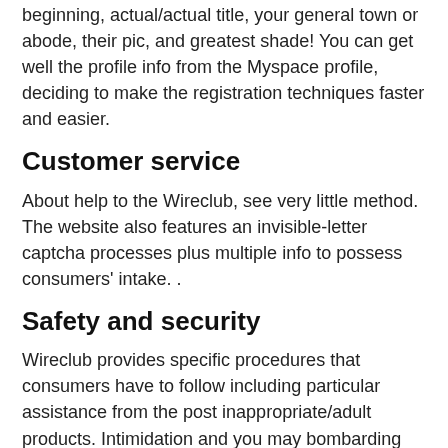beginning, actual/actual title, your general town or abode, their pic, and greatest shade! You can get well the profile info from the Myspace profile, deciding to make the registration techniques faster and easier.
Customer service
About help to the Wireclub, see very little method. The website also features an invisible-letter captcha processes plus multiple info to possess consumers' intake. .
Safety and security
Wireclub provides specific procedures that consumers have to follow including particular assistance from the post inappropriate/adult products. Intimidation and you may bombarding aren't tolerated together with blog writers act procedures such suspension system and you will banning up against defaulters. Fundamentally, we are